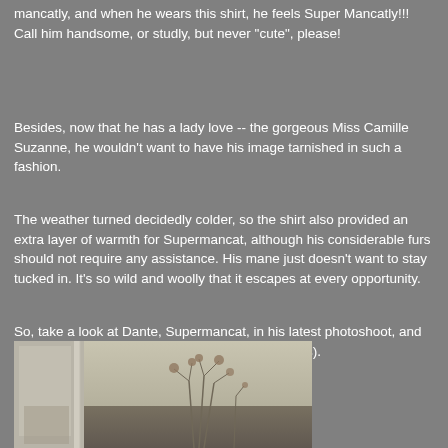mancatly, and when he wears this shirt, he feels Super Mancatly!!! Call him handsome, or studly, but never "cute", please!
Besides, now that he has a lady love -- the gorgeous Miss Camille Suzanne, he wouldn't want to have his image tarnished in such a fashion.
The weather turned decidedly colder, so the shirt also provided an extra layer of warmth for Supermancat, although his considerable furs should not require any assistance. His mane just doesn't want to stay tucked in. It's so wild and woolly that it escapes at every opportunity.
So, take a look at Dante, Supermancat, in his latest photoshoot, and marvel at his mancatliness (but not how cute he is).
[Figure (photo): Outdoor photo showing what appears to be a cat photoshoot scene with dried plants/weeds visible against a light background with some structural elements]